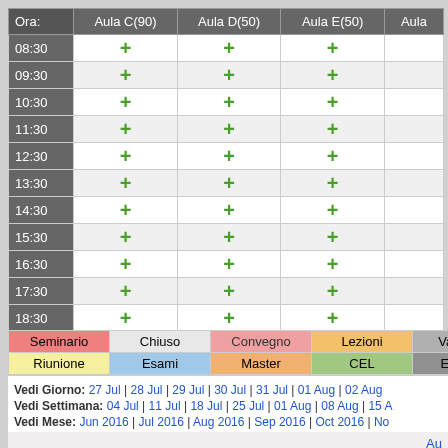| Ora: | Aula C(90) | Aula D(50) | Aula E(50) | Aula… |
| --- | --- | --- | --- | --- |
| 08:30 | + | + | + |  |
| 09:30 | + | + | + |  |
| 10:30 | + | + | + |  |
| 11:30 | + | + | + |  |
| 12:30 | + | + | + |  |
| 13:30 | + | + | + |  |
| 14:30 | + | + | + |  |
| 15:30 | + | + | + |  |
| 16:30 | + | + | + |  |
| 17:30 | + | + | + |  |
| 18:30 | + | + | + |  |
| Seminario | Chiuso | Convegno | Lezioni | Vacanza |
| --- | --- | --- | --- | --- |
| Riunione | Esami | Master | CEL | Esterno |
Vedi Giorno: 27 Jul | 28 Jul | 29 Jul | 30 Jul | 31 Jul | 01 Aug | 02 Aug
Vedi Settimana: 04 Jul | 11 Jul | 18 Jul | 25 Jul | 01 Aug | 08 Aug | 15 A…
Vedi Mese: Jun 2016 | Jul 2016 | Aug 2016 | Sep 2016 | Oct 2016 | No…
Au…